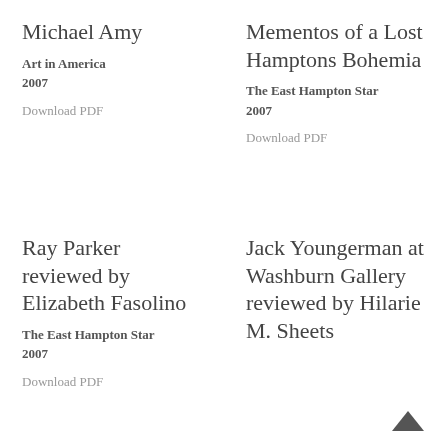Michael Amy
Art in America
2007
Download PDF
Mementos of a Lost Hamptons Bohemia
The East Hampton Star
2007
Download PDF
Ray Parker reviewed by Elizabeth Fasolino
The East Hampton Star
2007
Download PDF
Jack Youngerman at Washburn Gallery reviewed by Hilarie M. Sheets